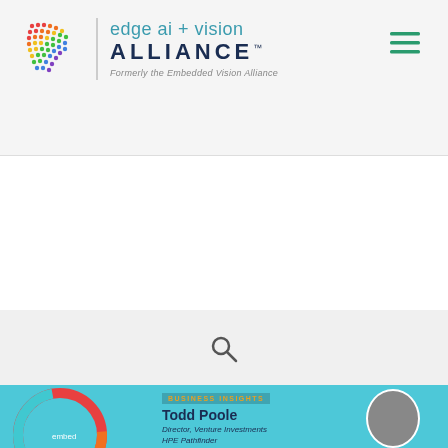[Figure (logo): Edge AI + Vision Alliance logo with colorful dot pattern, text 'edge ai + vision ALLIANCE' and subtitle 'Formerly the Embedded Vision Alliance']
[Figure (other): Hamburger menu icon (three horizontal lines) in teal/green color]
[Figure (other): Search icon (magnifying glass) centered in light gray search bar]
[Figure (other): Blue banner with text 'Algorithms' and colorful pixel/dot pattern on the right side]
[Figure (other): Business Insights card with Todd Poole, Director Venture Investments HPE Pathfinder, with circular headshot photo and colorful embedded circle graphic on the left]